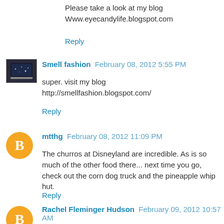Please take a look at my blog
Www.eyecandylife.blogspot.com
Reply
Smell fashion  February 08, 2012 5:55 PM
super. visit my blog
http://smellfashion.blogspot.com/
Reply
mtthg  February 08, 2012 11:09 PM
The churros at Disneyland are incredible. As is so much of the other food there... next time you go, check out the corn dog truck and the pineapple whip hut.
Reply
Rachel Fleminger Hudson  February 09, 2012 10:57 AM
Killer! argh you certainly do know how to blog! I wish I grew